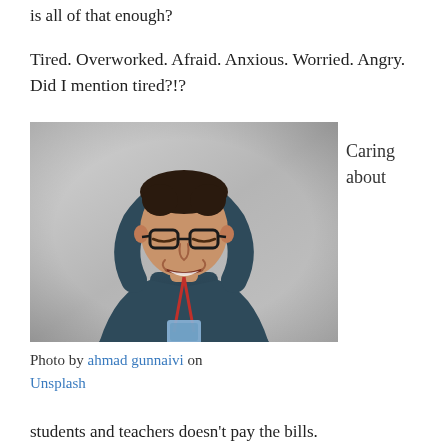is all of that enough?
Tired. Overworked. Afraid. Anxious. Worried. Angry. Did I mention tired?!?
[Figure (photo): A man with glasses wearing a dark blue long-sleeve shirt and a red lanyard with badge, holding his hands on his head with a stressed/frustrated expression, photographed against a light grey background.]
Caring about
Photo by ahmad gunnaivi on Unsplash
students and teachers doesn't pay the bills.